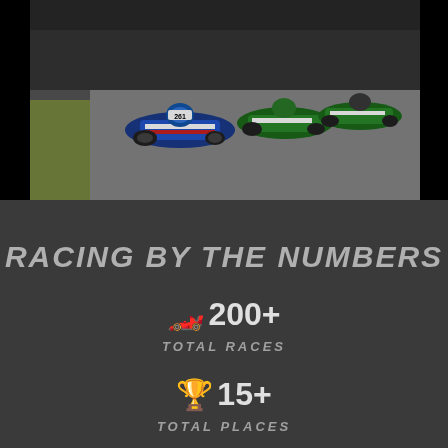[Figure (photo): Go-kart racing photo showing multiple karts on a track, lead kart numbered 261 in blue/white livery]
RACING BY THE NUMBERS
🏎️ 200+
TOTAL RACES
🏆 15+
TOTAL PLACES